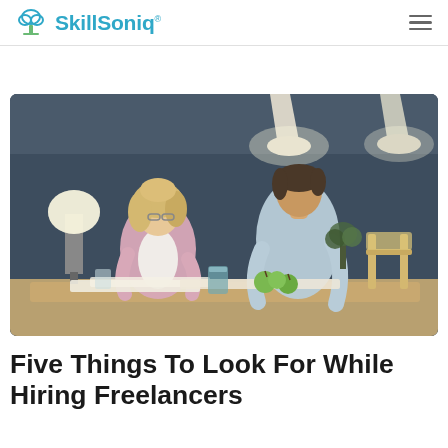SkillSoniq
[Figure (photo): Two professionals — a woman with curly blonde hair in a pink blazer and a man in a light blue shirt — leaning over a table reviewing documents in a modern office with pendant lights and a dark wall. Apples and a glass are on the table. A wooden chair is visible in the background.]
Five Things To Look For While Hiring Freelancers